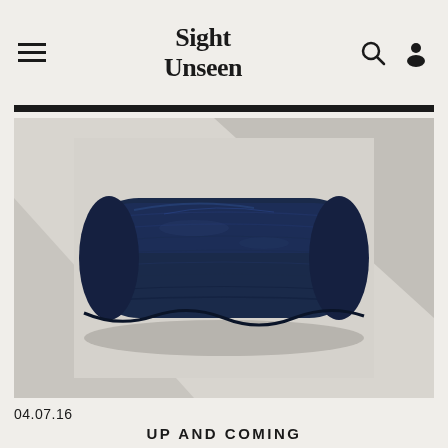Sight Unseen
[Figure (photo): A dark navy blue velvet or chenille bolster-style cushion/pillow photographed against a light grey/white paper background. The cushion has a cylindrical elongated shape with fluffy textured fabric.]
04.07.16
UP AND COMING